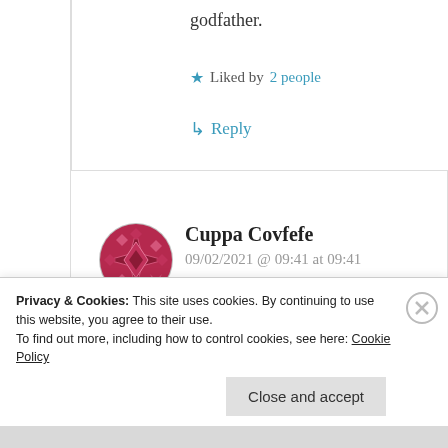godfather.
★ Liked by 2 people
↳ Reply
Cuppa Covfefe
09/02/2021 @ 09:41 at 09:41
The Debussy string quartet is quite
Privacy & Cookies: This site uses cookies. By continuing to use this website, you agree to their use.
To find out more, including how to control cookies, see here: Cookie Policy
Close and accept